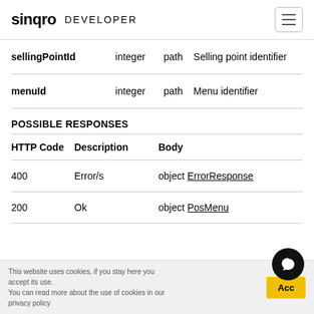sinqro DEVELOPER
|  |  |  |  |
| --- | --- | --- | --- |
| sellingPointId | integer | path | Selling point identifier |
| menuId | integer | path | Menu identifier |
POSSIBLE RESPONSES
| HTTP Code | Description | Body |
| --- | --- | --- |
| 400 | Error/s | object ErrorResponse |
| 200 | Ok | object PosMenu |
This website uses cookies, if you stay here you accept its use. You can read more about the use of cookies in our privacy policy